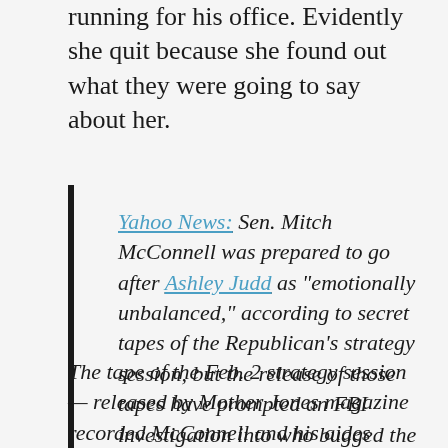running for his office. Evidently she quit because she found out what they were going to say about her.
Yahoo News: Sen. Mitch McConnell was prepared to go after Ashley Judd as "emotionally unbalanced," according to secret tapes of the Republican's strategy session, but the release of those tapes have prompted an FBI investigation into who bugged the senator's office, his campaign said today.
The tape of the Feb. 2 strategy session — released by Mother Jones magazine recorded McConnell and his aides